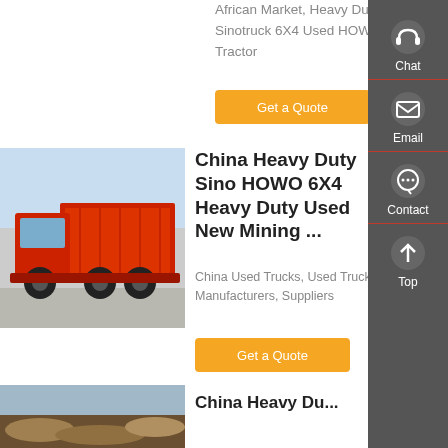African Market, Heavy Duty Sinotruck 6X4 Used HOWO Tractor
Get a Quote
[Figure (photo): Red HOWO heavy duty dump truck, side view]
China Heavy Duty Sino HOWO 6X4 Heavy Duty Used New Mining ...
China Used Trucks, Used Trucks Manufacturers, Suppliers
Get a Quote
[Figure (photo): Mining site or earthworks aerial photo]
China Heavy Du...